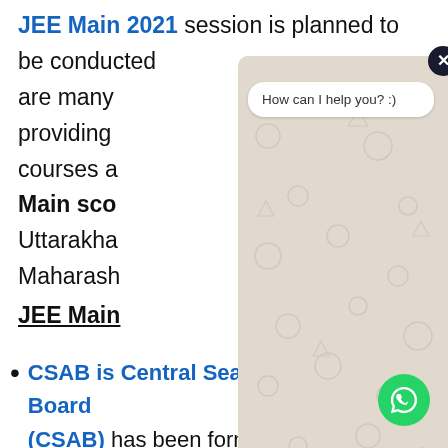JEE Main 2021 session is planned to be conducted... are many... providing... courses a...
Main sco... Uttarakha... Maharash...
[Figure (screenshot): WhatsApp chat widget overlay showing 'How can I help you? :)' message bubble with input field and send button]
JEE Main
CSAB is Central Seat Allocation Board (CSAB) has been formed to take admissions of the students in 31 NI... IIEST Shibpur, 26 IIITs and 30 GFTIs